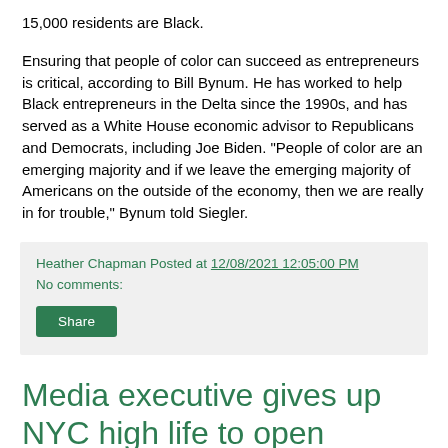15,000 residents are Black.
Ensuring that people of color can succeed as entrepreneurs is critical, according to Bill Bynum. He has worked to help Black entrepreneurs in the Delta since the 1990s, and has served as a White House economic advisor to Republicans and Democrats, including Joe Biden. "People of color are an emerging majority and if we leave the emerging majority of Americans on the outside of the economy, then we are really in for trouble," Bynum told Siegler.
Heather Chapman Posted at 12/08/2021 12:05:00 PM
No comments:
Share
Media executive gives up NYC high life to open sanctuary for donkeys, increasingly being killed for Chinese